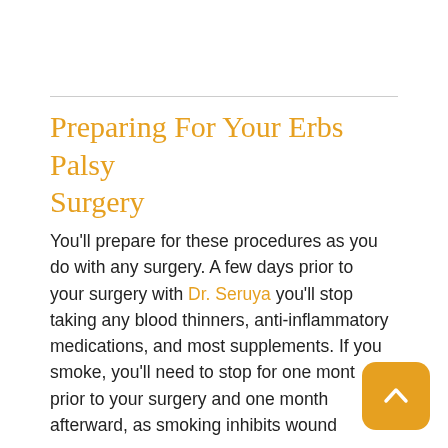Preparing For Your Erbs Palsy Surgery
You’ll prepare for these procedures as you do with any surgery. A few days prior to your surgery with Dr. Seruya you’ll stop taking any blood thinners, anti-inflammatory medications, and most supplements. If you smoke, you’ll need to stop for one month prior to your surgery and one month afterward, as smoking inhibits wound